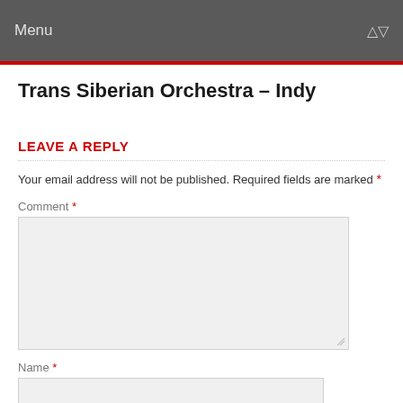Menu
Trans Siberian Orchestra – Indy
LEAVE A REPLY
Your email address will not be published. Required fields are marked *
Comment *
Name *
Email *